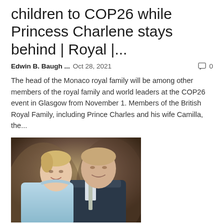children to COP26 while Princess Charlene stays behind | Royal |...
Edwin B. Baugh ...   Oct 28, 2021   🗨 0
The head of the Monaco royal family will be among other members of the royal family and world leaders at the COP26 event in Glasgow from November 1. Members of the British Royal Family, including Prince Charles and his wife Camilla, the...
[Figure (photo): Photo of Princess Charlene and Prince Albert of Monaco, a woman in light blue and a man in a dark suit with tie, smiling]
Prince Albert of Monaco